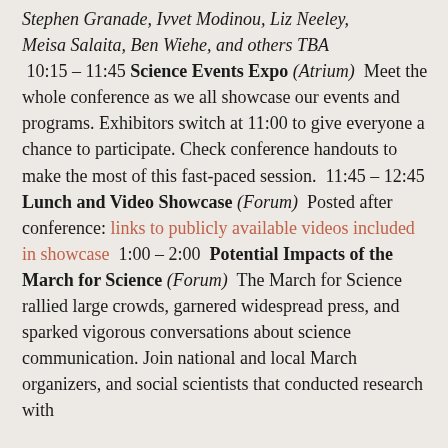Stephen Granade, Ivvet Modinou, Liz Neeley, Meisa Salaita, Ben Wiehe, and others TBA  10:15 – 11:45 Science Events Expo (Atrium)  Meet the whole conference as we all showcase our events and programs. Exhibitors switch at 11:00 to give everyone a chance to participate. Check conference handouts to make the most of this fast-paced session.  11:45 – 12:45 Lunch and Video Showcase (Forum)  Posted after conference: links to publicly available videos included in showcase  1:00 – 2:00  Potential Impacts of the March for Science (Forum)  The March for Science rallied large crowds, garnered widespread press, and sparked vigorous conversations about science communication. Join national and local March organizers, and social scientists that conducted research with